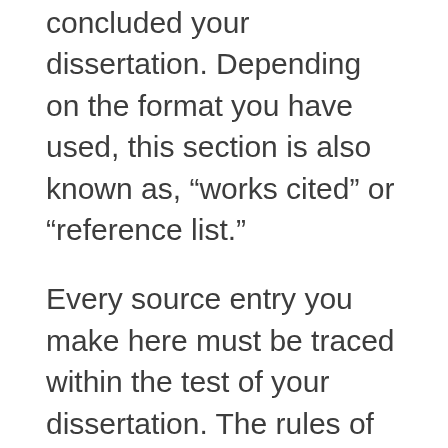concluded your dissertation. Depending on the format you have used, this section is also known as, “works cited” or “reference list.”
Every source entry you make here must be traced within the test of your dissertation. The rules of referencing should conform to the style of formatting that you have used. Sometimes you are required to include an annotated bibliography. Ensure that you follow the guidelines of the preferred format of referencing to write the annotated bibliography.
With a dissertation, the student is supposed to be very keen on every detail. If you are facing uncertainties in crafting the best